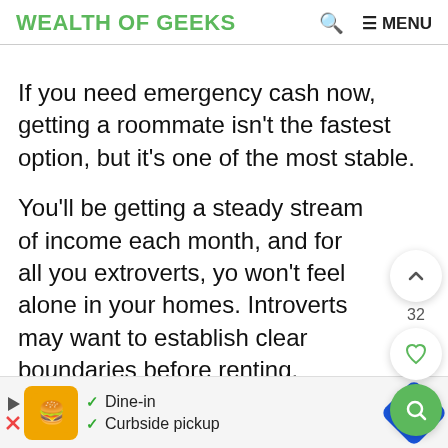WEALTH OF GEEKS   🔍   ≡ MENU
If you need emergency cash now, getting a roommate isn't the fastest option, but it's one of the most stable.
You'll be getting a steady stream of income each month, and for all you extroverts, you won't feel alone in your homes. Introverts may want to establish clear boundaries before renting.
You can list your house or apartment in many…
Getti… (partial, cut off by ad)